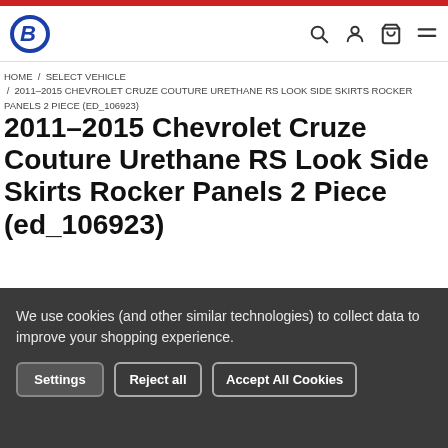OB [logo] with search, account, cart, menu icons
HOME / SELECT VEHICLE / 2011-2015 CHEVROLET CRUZE COUTURE URETHANE RS LOOK SIDE SKIRTS ROCKER PANELS 2 PIECE (ED_106923)
2011-2015 Chevrolet Cruze Couture Urethane RS Look Side Skirts Rocker Panels 2 Piece (ed_106923)
Couture
★★★★★ (No reviews yet)
Write a Review
We use cookies (and other similar technologies) to collect data to improve your shopping experience.
Settings | Reject all | Accept All Cookies